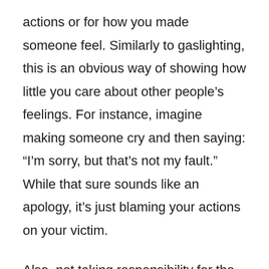actions or for how you made someone feel. Similarly to gaslighting, this is an obvious way of showing how little you care about other people's feelings. For instance, imagine making someone cry and then saying: “I’m sorry, but that’s not my fault.” While that sure sounds like an apology, it’s just blaming your actions on your victim.
Also, not taking responsibility for the things you do makes you a dishonest and untrustworthy person. As a result, your friends and family might start to think twice before believing a word you say. What you say and do will soon mean so little to those around you...